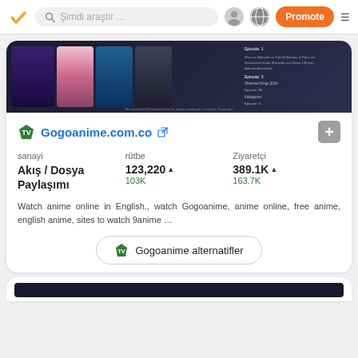Şimdi araştır ...  Promote
[Figure (screenshot): Gogoanime.com.co website screenshot showing anime poster thumbnails on a dark background]
Gogoanime.com.co
| sanayi | rütbe | Ziyaretçi |
| --- | --- | --- |
| Akış / Dosya Paylaşımı | 123,220 ↑
103K | 389.1K ↑
163.7K |
Watch anime online in English., watch Gogoanime, anime online, free anime, english anime, sites to watch 9anime …
Gogoanime alternatifler